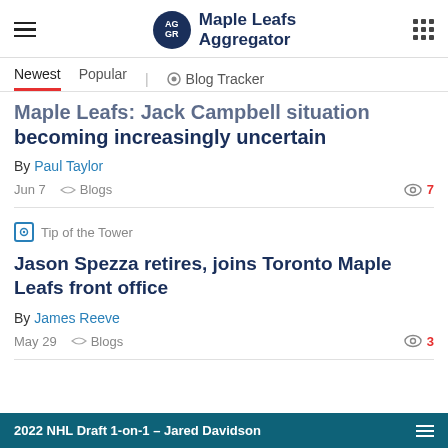Maple Leafs Aggregator
Newest  Popular  |  Blog Tracker
Maple Leafs: Jack Campbell situation becoming increasingly uncertain
By Paul Taylor
Jun 7   Blogs   7
Tip of the Tower
Jason Spezza retires, joins Toronto Maple Leafs front office
By James Reeve
May 29   Blogs   3
2022 NHL Draft 1-on-1 – Jared Davidson